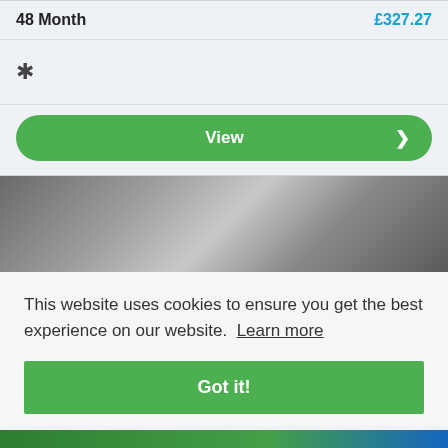48 Month   £327.27
[Figure (illustration): Bluetooth icon symbol]
View >
[Figure (photo): Blurred dark grey gradient banner image]
This website uses cookies to ensure you get the best experience on our website. Learn more
Got it!
[Figure (illustration): Bottom colored strip with green and blue gradient]